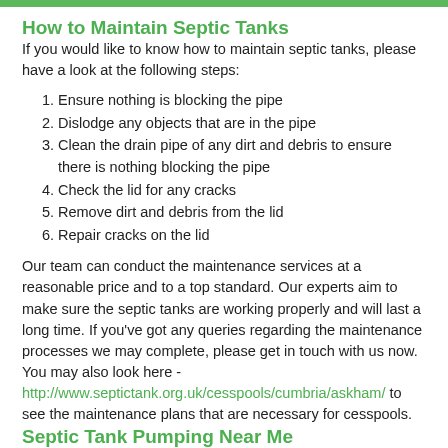How to Maintain Septic Tanks
If you would like to know how to maintain septic tanks, please have a look at the following steps:
Ensure nothing is blocking the pipe
Dislodge any objects that are in the pipe
Clean the drain pipe of any dirt and debris to ensure there is nothing blocking the pipe
Check the lid for any cracks
Remove dirt and debris from the lid
Repair cracks on the lid
Our team can conduct the maintenance services at a reasonable price and to a top standard. Our experts aim to make sure the septic tanks are working properly and will last a long time. If you've got any queries regarding the maintenance processes we may complete, please get in touch with us now. You may also look here - http://www.septictank.org.uk/cesspools/cumbria/askham/ to see the maintenance plans that are necessary for cesspools.
Septic Tank Pumping Near Me